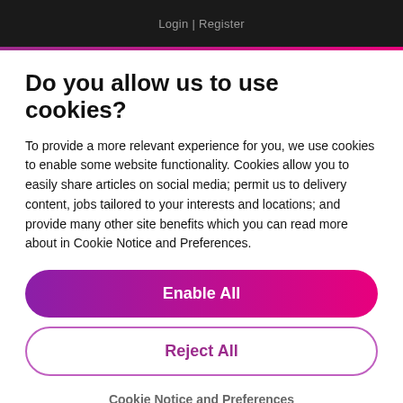Login | Register
Do you allow us to use cookies?
To provide a more relevant experience for you, we use cookies to enable some website functionality. Cookies allow you to easily share articles on social media; permit us to delivery content, jobs tailored to your interests and locations; and provide many other site benefits which you can read more about in Cookie Notice and Preferences.
Enable All
Reject All
Cookie Notice and Preferences